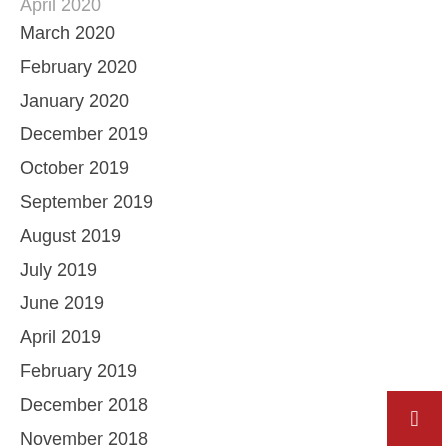April 2020
March 2020
February 2020
January 2020
December 2019
October 2019
September 2019
August 2019
July 2019
June 2019
April 2019
February 2019
December 2018
November 2018